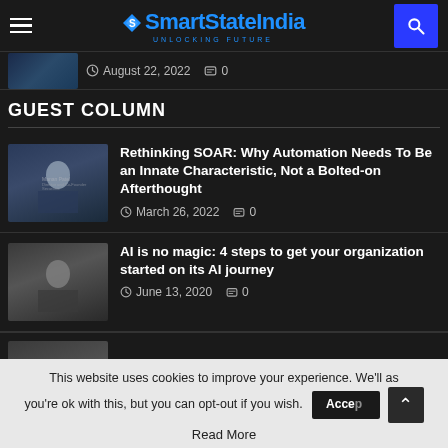SmartStateIndia — UNLOCKING FUTURE
August 22, 2022   0
GUEST COLUMN
Rethinking SOAR: Why Automation Needs To Be an Innate Characteristic, Not a Bolted-on Afterthought
March 26, 2022   0
AI is no magic: 4 steps to get your organization started on its AI journey
June 13, 2020   0
This website uses cookies to improve your experience. We'll as you're ok with this, but you can opt-out if you wish.   Accept   Read More